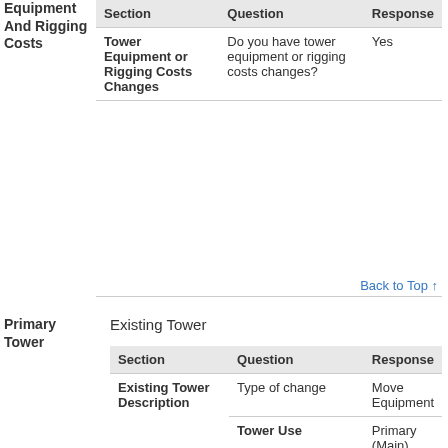| Section | Question | Response |
| --- | --- | --- |
| Tower Equipment or Rigging Costs Changes | Do you have tower equipment or rigging costs changes? | Yes |
Back to Top ↑
Primary Tower
Existing Tower
| Section | Question | Response |
| --- | --- | --- |
| Existing Tower Description | Type of change | Move Equipment |
|  | Tower Use | Primary (Main) |
|  | Ownership | Leased |
|  | Is this tower consider Remote? | No |